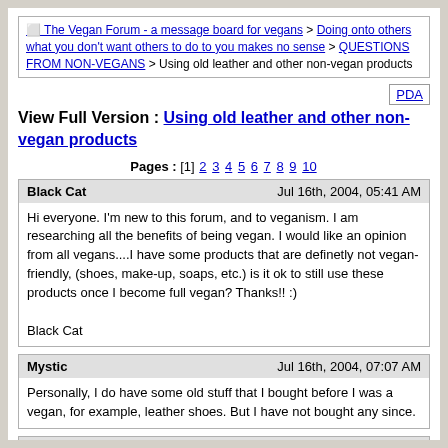⬜ The Vegan Forum - a message board for vegans > Doing onto others what you don't want others to do to you makes no sense > QUESTIONS FROM NON-VEGANS > Using old leather and other non-vegan products
View Full Version : Using old leather and other non-vegan products
Pages : [1] 2 3 4 5 6 7 8 9 10
Black Cat
Jul 16th, 2004, 05:41 AM
Hi everyone. I'm new to this forum, and to veganism. I am researching all the benefits of being vegan. I would like an opinion from all vegans....I have some products that are definetly not vegan-friendly, (shoes, make-up, soaps, etc.) is it ok to still use these products once I become full vegan? Thanks!! :)

Black Cat
Mystic
Jul 16th, 2004, 07:07 AM
Personally, I do have some old stuff that I bought before I was a vegan, for example, leather shoes. But I have not bought any since.
gertvegan
Jul 16th, 2004, 08:22 AM
From Being Vegan by Joanne Stephaniak

What to Do With Nonvegan Items?

You are correct in thinking that wearing animal products, such as leather